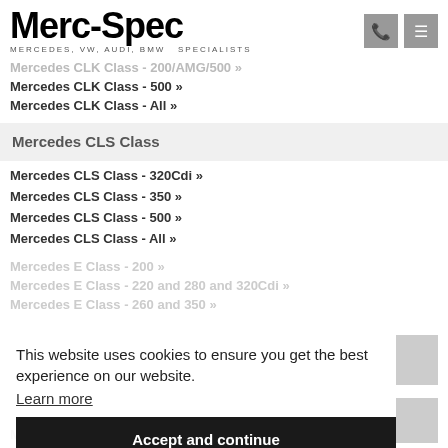Merc-Spec — MERCEDES, VW, AUDI, BMW SPECIALISTS
Mercedes CLK Class - 500 »
Mercedes CLK Class - All »
Mercedes CLS Class
Mercedes CLS Class - 320Cdi »
Mercedes CLS Class - 350 »
Mercedes CLS Class - 500 »
Mercedes CLS Class - All »
This website uses cookies to ensure you get the best experience on our website. Learn more
Accept and continue
Mercedes EQC - Electric »